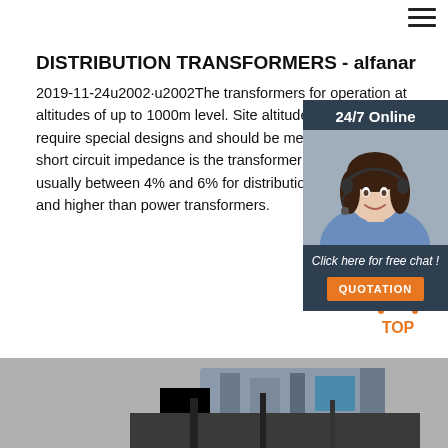[Figure (other): Hamburger menu icon (three horizontal lines) in top right corner]
DISTRIBUTION TRANSFORMERS - alfanar
2019-11-24u2002·u2002The transformers for operation at altitudes of up to 1000m level. Site altitudes above 1000m require special designs and should be mentioned The short circuit impedance is the transformer impedance, usually between 4% and 6% for distribution transformers and higher than power transformers.
[Figure (photo): 24/7 Online customer service widget with photo of a smiling woman wearing a headset, dark blue background, with 'Click here for free chat!' text and orange QUOTATION button]
Get Price
[Figure (other): Orange dotted arrow pointing up with text TOP - back to top button]
[Figure (photo): Bottom strip showing industrial transformer equipment]